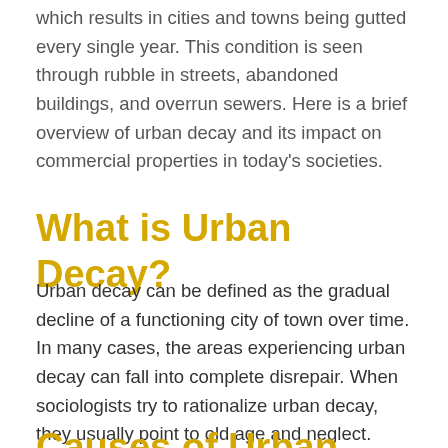which results in cities and towns being gutted every single year. This condition is seen through rubble in streets, abandoned buildings, and overrun sewers. Here is a brief overview of urban decay and its impact on commercial properties in today's societies.
What is Urban Decay?
Urban decay can be defined as the gradual decline of a functioning city of town over time. In many cases, the areas experiencing urban decay can fall into complete disrepair. When sociologists try to rationalize urban decay, they usually point to old age and neglect.
Causes of Urban Decay